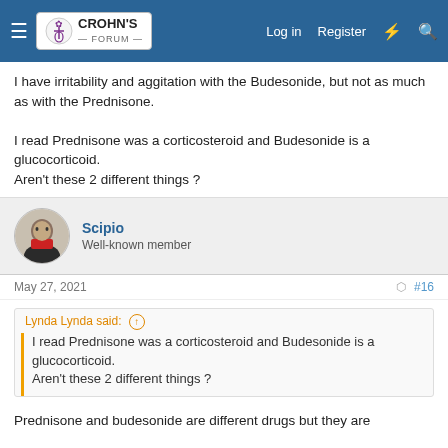Crohn's Forum - Log in | Register
I have irritability and aggitation with the Budesonide, but not as much as with the Prednisone.

I read Prednisone was a corticosteroid and Budesonide is a glucocorticoid.
Aren't these 2 different things ?
Scipio
Well-known member
May 27, 2021  #16
Lynda Lynda said:
I read Prednisone was a corticosteroid and Budesonide is a glucocorticoid.
Aren't these 2 different things ?
Prednisone and budesonide are different drugs but they are